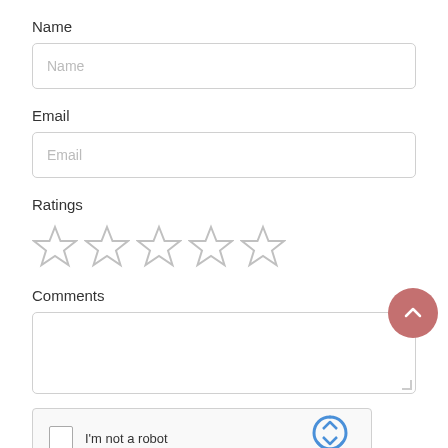Name
[Figure (screenshot): Text input field with placeholder text 'Name']
Email
[Figure (screenshot): Text input field with placeholder text 'Email']
Ratings
[Figure (other): Five empty star rating icons in a row]
Comments
[Figure (screenshot): Multi-line textarea input for comments, empty]
[Figure (screenshot): reCAPTCHA widget with checkbox 'I'm not a robot' and reCAPTCHA logo]
[Figure (other): Scroll-to-top button: pink/salmon circle with white upward chevron]